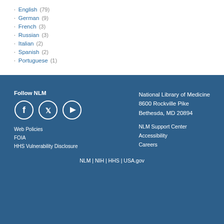English (79)
German (9)
French (3)
Russian (3)
Italian (2)
Spanish (2)
Portuguese (1)
Follow NLM
Web Policies
FOIA
HHS Vulnerability Disclosure
National Library of Medicine
8600 Rockville Pike
Bethesda, MD 20894
NLM Support Center
Accessibility
Careers
NLM | NIH | HHS | USA.gov